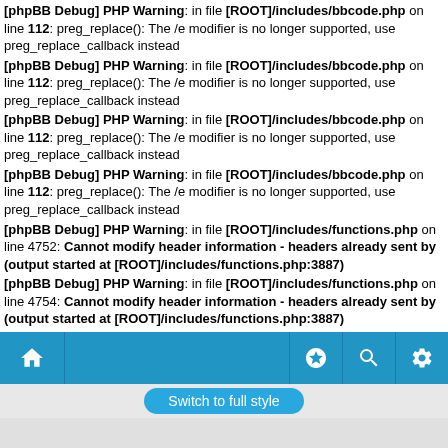[phpBB Debug] PHP Warning: in file [ROOT]/includes/bbcode.php on line 112: preg_replace(): The /e modifier is no longer supported, use preg_replace_callback instead
[phpBB Debug] PHP Warning: in file [ROOT]/includes/bbcode.php on line 112: preg_replace(): The /e modifier is no longer supported, use preg_replace_callback instead
[phpBB Debug] PHP Warning: in file [ROOT]/includes/bbcode.php on line 112: preg_replace(): The /e modifier is no longer supported, use preg_replace_callback instead
[phpBB Debug] PHP Warning: in file [ROOT]/includes/bbcode.php on line 112: preg_replace(): The /e modifier is no longer supported, use preg_replace_callback instead
[phpBB Debug] PHP Warning: in file [ROOT]/includes/functions.php on line 4752: Cannot modify header information - headers already sent by (output started at [ROOT]/includes/functions.php:3887)
[phpBB Debug] PHP Warning: in file [ROOT]/includes/functions.php on line 4754: Cannot modify header information - headers already sent by (output started at [ROOT]/includes/functions.php:3887)
[phpBB Debug] PHP Warning: in file [ROOT]/includes/functions.php on line 4755: Cannot modify header information - headers already sent by (output started at [ROOT]/includes/functions.php:3887)
[phpBB Debug] PHP Warning: in file [ROOT]/includes/functions.php on line 4756: Cannot modify header information - headers already sent by (output started at [ROOT]/includes/functions.php:3887)
Switch to full style